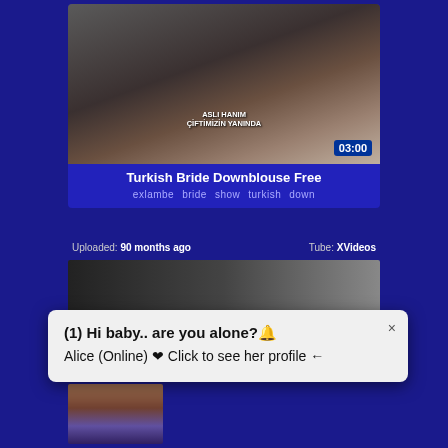[Figure (screenshot): Video thumbnail showing a couple in wedding attire on what appears to be a TV show. Text overlay reads ASLI HANIM CIFTIMIZIN YANINDA with a 03:00 timer badge.]
Turkish Bride Downblouse Free
exlambe   bride   show   turkish   down
Uploaded: 90 months ago   Tube: XVideos
[Figure (screenshot): Video thumbnail showing DownBlo text logo on left and a person on right.]
(1) Hi baby.. are you alone?
Alice (Online) ❤ Click to see her profile ←